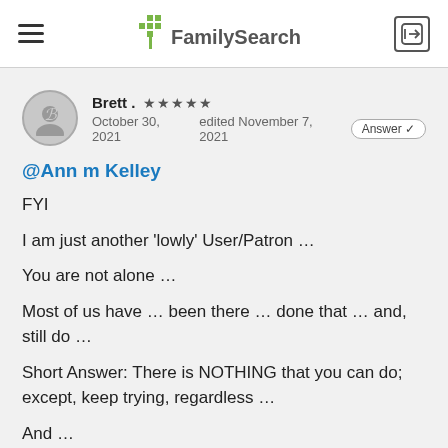FamilySearch
Brett .  ★★★★★
October 30, 2021   edited November 7, 2021   Answer ✓
@Ann m Kelley
FYI
I am just another 'lowly' User/Patron …
You are not alone …
Most of us have … been there … done that … and, still do …
Short Answer: There is NOTHING that you can do; except, keep trying, regardless …
And …